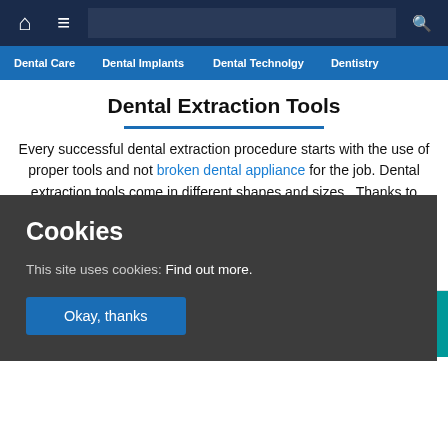Navigation bar with home, menu, search icons
Dental Care | Dental Implants | Dental Technolgy | Dentistry
Dental Extraction Tools
Every successful dental extraction procedure starts with the use of proper tools and not broken dental appliance for the job. Dental extraction tools come in different shapes and sizes . Thanks to advances in dental health technology,tooth extraction isn't as nerve-racking as it was in the past. Here are some of the tools used during tooth extraction.
mment(0)
[Figure (screenshot): Cookie consent overlay with title 'Cookies', text 'This site uses cookies: Find out more.' and 'Okay, thanks' button]
[Figure (photo): Teal background with dental tools image at bottom]